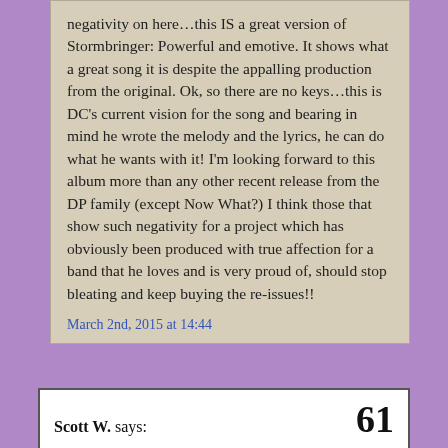negativity on here…this IS a great version of Stormbringer: Powerful and emotive. It shows what a great song it is despite the appalling production from the original. Ok, so there are no keys…this is DC's current vision for the song and bearing in mind he wrote the melody and the lyrics, he can do what he wants with it! I'm looking forward to this album more than any other recent release from the DP family (except Now What?) I think those that show such negativity for a project which has obviously been produced with true affection for a band that he loves and is very proud of, should stop bleating and keep buying the re-issues!!
March 2nd, 2015 at 14:44
Scott W. says:   61
I generally do not get into fantasizing about proposed DP